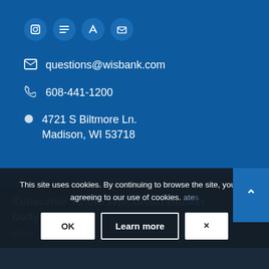[Figure (other): Social media icon buttons (circular) on blue background]
questions@wisbank.com
608-441-1200
4721 S Biltmore Ln.
Madison, WI 53718
Subscribe To the Wisconsin Banker Daily
Email
This site uses cookies. By continuing to browse the site, you are agreeing to our use of cookies.
OK
Learn more
×